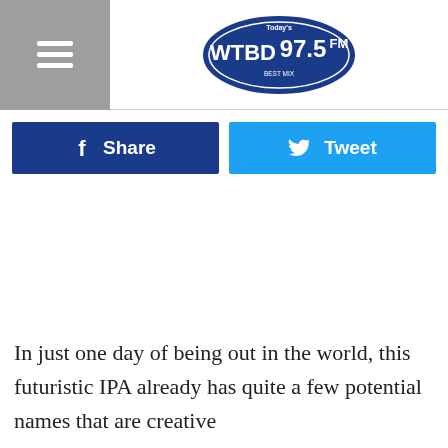WTBD 97.5 FM
[Figure (logo): WTBD 97.5 FM radio station logo — blue badge shape with white text]
[Figure (other): Facebook Share button (dark blue) and Twitter Tweet button (light blue)]
In just one day of being out in the world, this futuristic IPA already has quite a few potential names that are creative